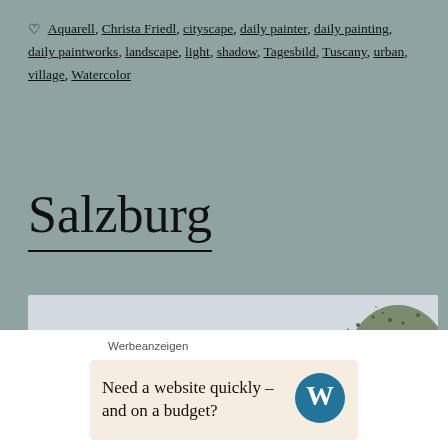♡ Aquarell, Christa Friedl, cityscape, daily painter, daily painting, daily paintworks, landscape, light, shadow, Tagesbild, Tuscany, urban, village, Watercolor
Salzburg
[Figure (illustration): Watercolor painting of Salzburg cityscape showing castle/fortress silhouette with church steeples and green foliage on the right, rendered in muted blue-grey and green watercolor tones]
Werbeanzeigen
Need a website quickly – and on a budget?